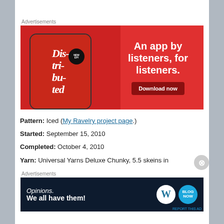Advertisements
[Figure (screenshot): Red advertisement banner for a podcast app. Shows a smartphone with 'Dis-tri-bu-ted' text on screen. Right side reads 'An app by listeners, for listeners.' with a 'Download now' button.]
Pattern: Iced (My Ravelry project page.)
Started: September 15, 2010
Completed: October 4, 2010
Yarn: Universal Yarns Deluxe Chunky, 5.5 skeins in
Advertisements
[Figure (screenshot): Dark navy advertisement banner for WordPress/Blogs. Text reads 'Opinions. We all have them!' with WordPress and BlogNow logos on right.]